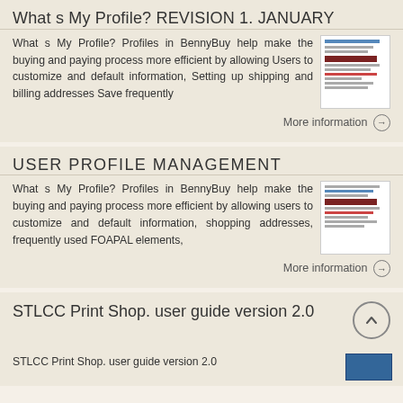What s My Profile? REVISION 1. JANUARY
What s My Profile? Profiles in BennyBuy help make the buying and paying process more efficient by allowing Users to customize and default information, Setting up shipping and billing addresses Save frequently
More information →
USER PROFILE MANAGEMENT
What s My Profile? Profiles in BennyBuy help make the buying and paying process more efficient by allowing users to customize and default information, shopping addresses, frequently used FOAPAL elements,
More information →
STLCC Print Shop. user guide version 2.0
STLCC Print Shop. user guide version 2.0